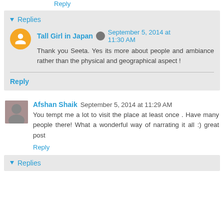Reply
Replies
Tall Girl in Japan  September 5, 2014 at 11:30 AM
Thank you Seeta. Yes its more about people and ambiance rather than the physical and geographical aspect !
Reply
Afshan Shaik  September 5, 2014 at 11:29 AM
You tempt me a lot to visit the place at least once . Have many people there! What a wonderful way of narrating it all :) great post
Reply
Replies